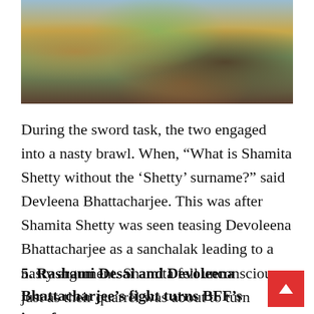[Figure (photo): A colorful photograph showing people, likely contestants from a reality TV show, with vibrant clothing in greens, yellows, and blues.]
During the sword task, the two engaged into a nasty brawl. When, “What is Shamita Shetty without the ‘Shetty’ surname?” said Devleena Bhattacharjee. This was after Shamita Shetty was seen teasing Devoleena Bhattacharjee as a sanchalak leading to a nasty argument. Shamita fell unconscious just as their quarrel was about to turn physical, and Karan Kundrra hurried her to the medical room.
5. Rashami Desai and Devoleena Bhattacharjee’s fight turns BFF’s into foes